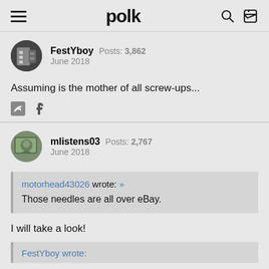polk
FestYboy  Posts: 3,862  June 2018
Assuming is the mother of all screw-ups...
mlistens03  Posts: 2,767  June 2018
motorhead43026 wrote: »
Those needles are all over eBay.
I will take a look!
FestYboy wrote: